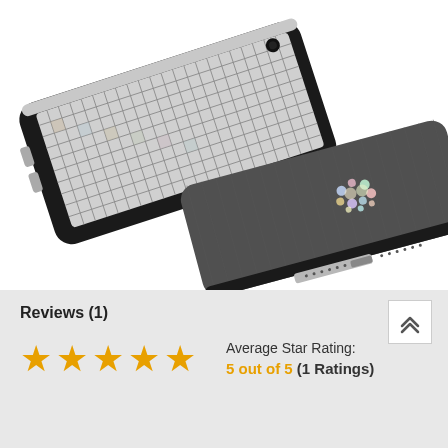[Figure (photo): Two iPhone cases shown at an angle. Top-left: a case with a silver/iridescent checkered grid pattern on a black frame. Bottom-right: a dark gray brushed-texture case with a holographic skull design on a black frame, showing the bottom edge with speaker grille and connector port.]
Reviews (1)
[Figure (infographic): Five orange star icons representing a 5-star rating]
Average Star Rating: 5 out of 5 (1 Ratings)